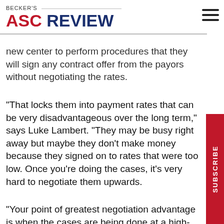BECKER'S ASC REVIEW
new center to perform procedures that they will sign any contract offer from the payors without negotiating the rates.
"That locks them into payment rates that can be very disadvantageous over the long term," says Luke Lambert. "They may be busy right away but maybe they don't make money because they signed on to rates that were too low. Once you're doing the cases, it's very hard to negotiate them upwards.
"Your point of greatest negotiation advantage is when the cases are being done at a high-cost place